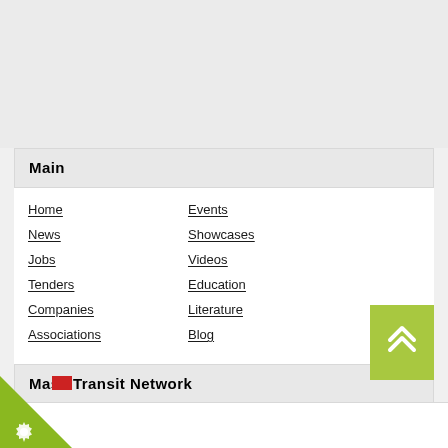Main
Home
Events
News
Showcases
Jobs
Videos
Tenders
Education
Companies
Literature
Associations
Blog
Mass Transit Network
About Mass Transit
About Mass Transit Network
Mass Transit Professionals
Membership
Testimonials